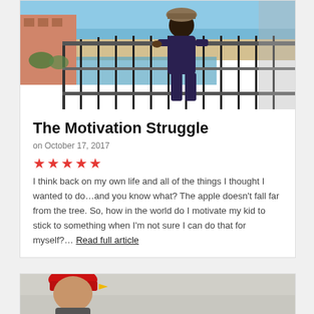[Figure (photo): Child standing on a balcony overlooking a beach resort, wearing a hat and dark shirt, viewed from behind]
The Motivation Struggle
on October 17, 2017
★★★★★
I think back on my own life and all of the things I thought I wanted to do...and you know what? The apple doesn't fall far from the tree. So, how in the world do I motivate my kid to stick to something when I'm not sure I can do that for myself?... Read full article
[Figure (photo): Child wearing a red hat, partially visible at bottom of page]